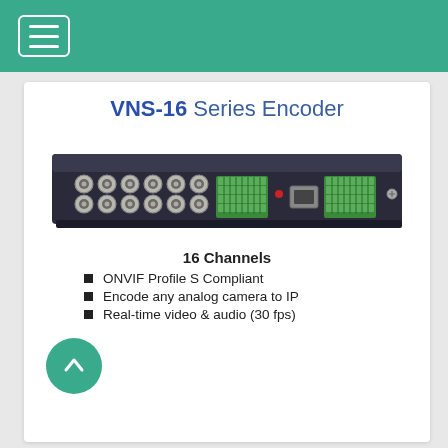Navigation menu header bar
VNS-16 Series Encoder
[Figure (photo): Rear panel of VNS-16 Series video encoder device showing BNC connectors, terminal blocks, and Ethernet port mounted in a 1U rack form factor]
16 Channels
ONVIF Profile S Compliant
Encode any analog camera to IP
Real-time video & audio (30 fps)